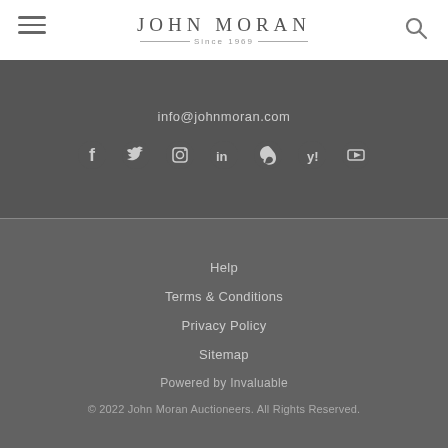JOHN MORAN Since 1969
info@johnmoran.com
[Figure (infographic): Social media icons: Facebook, Twitter, Instagram, LinkedIn, Pinterest, Yelp, YouTube]
Help
Terms & Conditions
Privacy Policy
Sitemap
Powered by Invaluable
© 2022 John Moran Auctioneers. All Rights Reserved.